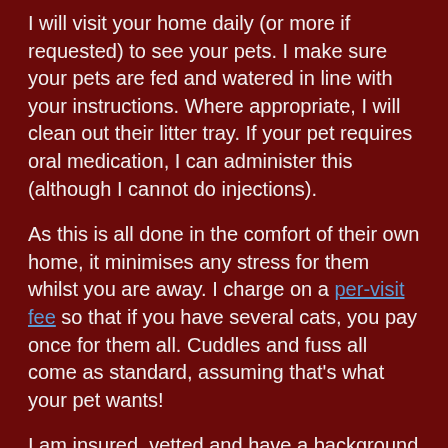I will visit your home daily (or more if requested) to see your pets. I make sure your pets are fed and watered in line with your instructions. Where appropriate, I will clean out their litter tray. If your pet requires oral medication, I can administer this (although I cannot do injections).
As this is all done in the comfort of their own home, it minimises any stress for them whilst you are away. I charge on a per-visit fee so that if you have several cats, you pay once for them all. Cuddles and fuss all come as standard, assuming that’s what your pet wants!
I am insured, vetted and have a background in home security and policing. This leaves you safe in the knowledge that your pet is being cared for whilst you are away and that someone responsible is keeping an eye on your house. The service is suitable for occasional days away as well as for longer holidays.